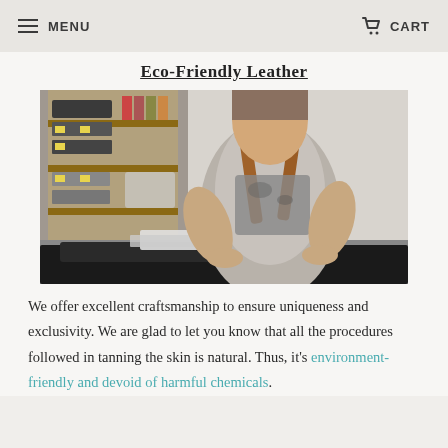MENU    CART
Eco-Friendly Leather
[Figure (photo): A craftsman in a grey apron with leather straps working at a table covered in black leather pieces, with wooden shelves of toolboxes and supplies in the background.]
We offer excellent craftsmanship to ensure uniqueness and exclusivity. We are glad to let you know that all the procedures followed in tanning the skin is natural. Thus, it's environment-friendly and devoid of harmful chemicals.